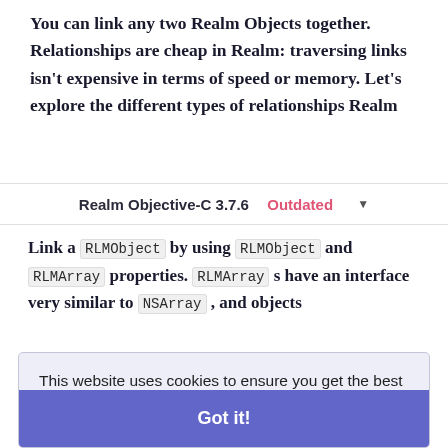You can link any two Realm Objects together. Relationships are cheap in Realm: traversing links isn't expensive in terms of speed or memory. Let's explore the different types of relationships Realm
Realm Objective-C 3.7.6  Outdated ▾
Link a RLMObject by using RLMObject and RLMArray properties. RLMArray s have an interface very similar to NSArray , and objects
This website uses cookies to ensure you get the best experience on our website.
Learn more
Got it!
defined (see models). let's create an other model